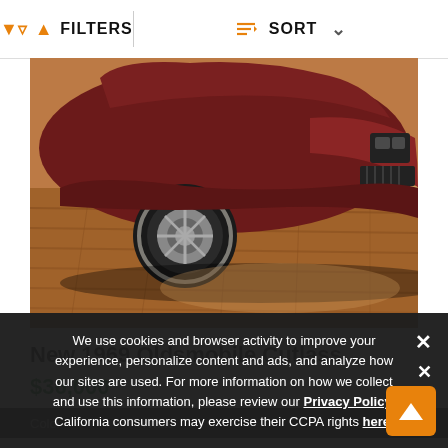FILTERS   SORT
[Figure (photo): Front/side view of a dark red 1969 Oldsmobile Cutlass muscle car parked on a wooden floor inside a building.]
New 1969 Oldsmobile Cutlass
$36,000
| Color |  |
| --- | --- |
| Color | White |
We use cookies and browser activity to improve your experience, personalize content and ads, and analyze how our sites are used. For more information on how we collect and use this information, please review our Privacy Policy. California consumers may exercise their CCPA rights here.